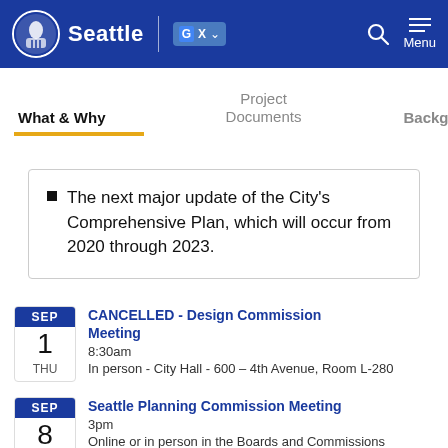Seattle — City of Seattle website header with navigation
What & Why | Project Documents | Background
The next major update of the City's Comprehensive Plan, which will occur from 2020 through 2023.
CANCELLED - Design Commission Meeting
8:30am
In person - City Hall - 600 – 4th Avenue, Room L-280
Seattle Planning Commission Meeting
3pm
Online or in person in the Boards and Commissions